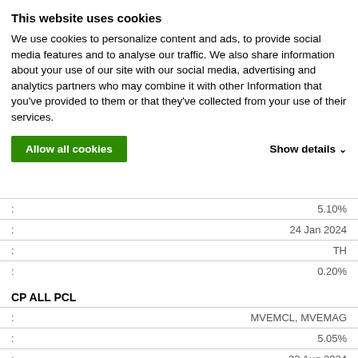This website uses cookies
We use cookies to personalize content and ads, to provide social media features and to analyse our traffic. We also share information about your use of our site with our social media, advertising and analytics partners who may combine it with other Information that you've provided to them or that they've collected from your use of their services.
| : | Value |
| --- | --- |
| : | 5.10% |
| : | 24 Jan 2024 |
| : | TH |
| : | 0.20% |
CP ALL PCL
| : | Value |
| --- | --- |
| : | MVEMCL, MVEMAG |
| : | 5.05% |
| : | 22 Aug 2024 |
| : | TH |
| : | 0.20% |